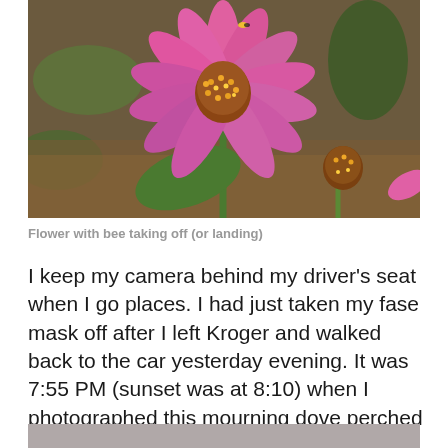[Figure (photo): Close-up photograph of a pink coneflower (Echinacea) with a spiky orange-brown center cone, blooming with drooping pink petals. Green leaves and another flower bud visible in the background. Natural outdoor setting with bokeh background.]
Flower with bee taking off (or landing)
I keep my camera behind my driver's seat when I go places. I had just taken my fase mask off after I left Kroger and walked back to the car yesterday evening. It was 7:55 PM (sunset was at 8:10) when I photographed this mourning dove perched on a wire over the street:
[Figure (photo): Partial view of a second photograph, showing only the top portion — a grey/taupe sky or background, presumably the beginning of the mourning dove photo mentioned in the text.]